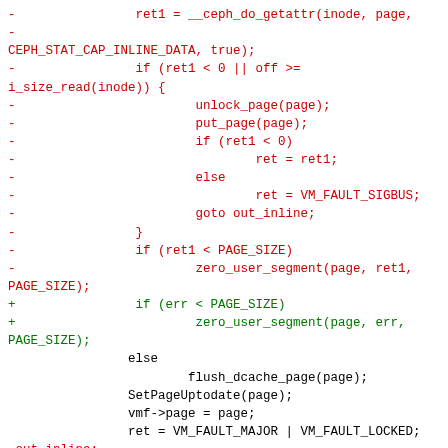[Figure (other): Source code diff showing removed (red, prefixed with -) and added (green, prefixed with +) lines of C kernel code, and unchanged (black) lines, involving ceph filesystem inline data fault handling.]